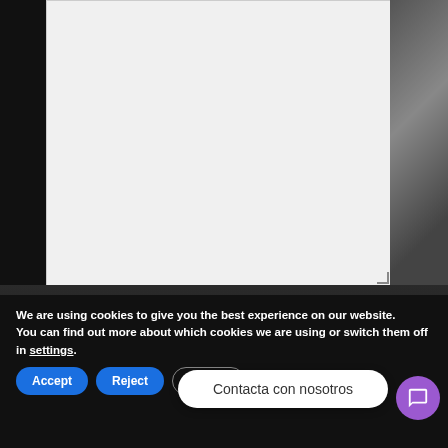[Figure (screenshot): Text area input field with light gray background, partially visible on a dark website background with a street photo on the right side]
Enviar
We are using cookies to give you the best experience on our website.
You can find out more about which cookies we are using or switch them off in settings.
Contacta con nosotros
Accept
Reject
Settings